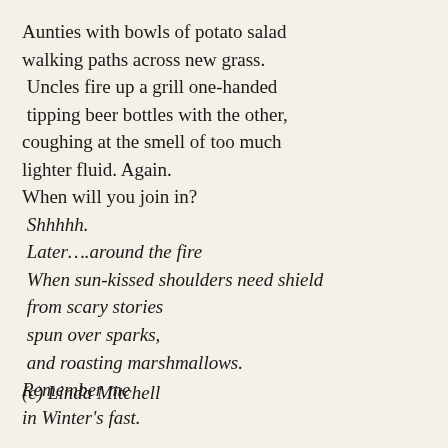Aunties with bowls of potato salad
walking paths across new grass.
 Uncles fire up a grill one-handed
 tipping beer bottles with the other,
coughing at the smell of too much
lighter fluid. Again.
When will you join in?
 Shhhhh.
 Later….around the fire
 When sun-kissed shoulders need shield
 from scary stories
 spun over sparks,
 and roasting marshmallows.
Remember me
in Winter's fast.
(c) Linda Mitchell